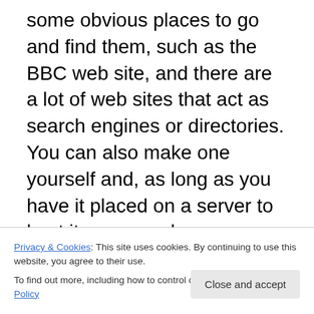some obvious places to go and find them, such as the BBC web site, and there are a lot of web sites that act as search engines or directories. You can also make one yourself and, as long as you have it placed on a server to host it, anyone else can subscribe to it just by pasting in the web address, or url, or ‘feed’, as I now have learnt to say… Podcasts come in all shapes and sizes, all subjects and (let me tell you) all variations of quality. Pick an interest, go to podcastalley.com, search for it, copy the feed to iTunes, subscribe and listen – your life will change beyond recognition!
Privacy & Cookies: This site uses cookies. By continuing to use this website, you agree to their use. To find out more, including how to control cookies, see here: Cookie Policy